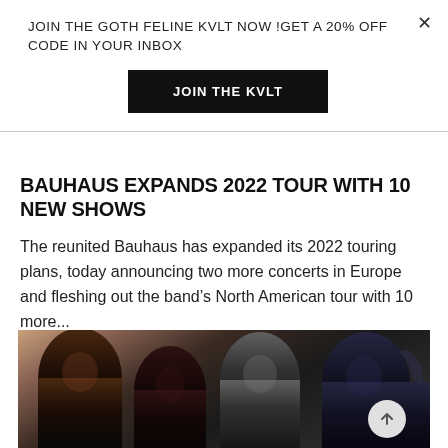JOIN THE GOTH FELINE KVLT NOW !GET A 20% OFF CODE IN YOUR INBOX
JOIN THE KVLT
BAUHAUS EXPANDS 2022 TOUR WITH 10 NEW SHOWS
The reunited Bauhaus has expanded its 2022 touring plans, today announcing two more concerts in Europe and fleshing out the band's North American tour with 10 more...
[Figure (photo): Photo of four Bauhaus band members dressed in black, with dark gothic styling, against a warm-toned background]